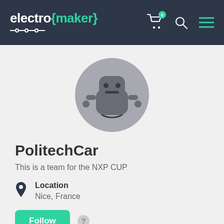electro {maker}
[Figure (illustration): Robot avatar profile image in a grey circular background]
PolitechCar
This is a team for the NXP CUP
Location
Nice, France
Follow